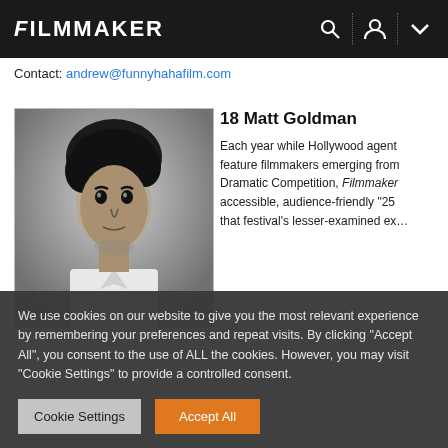FILMMAKER
Contact: andrew@funnyhahafilm.com
[Figure (photo): Black and white portrait photo of Matt Goldman, a young man with curly dark hair, looking directly at the camera with a serious expression, wearing a light-colored shirt.]
18 Matt Goldman
Each year while Hollywood agents feature filmmakers emerging from Dramatic Competition, Filmmaker accessible, audience-friendly "25 that festival's lesser-examined ex...
We use cookies on our website to give you the most relevant experience by remembering your preferences and repeat visits. By clicking "Accept All", you consent to the use of ALL the cookies. However, you may visit "Cookie Settings" to provide a controlled consent.
Cookie Settings
Accept All